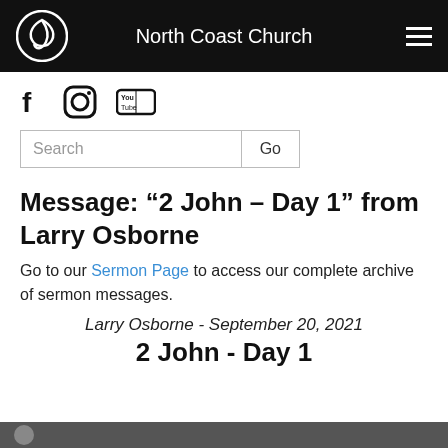North Coast Church
[Figure (logo): Social media icons: Facebook (f), Instagram, YouTube]
Search  Go
Message: “2 John – Day 1” from Larry Osborne
Go to our Sermon Page to access our complete archive of sermon messages.
Larry Osborne - September 20, 2021
2 John - Day 1